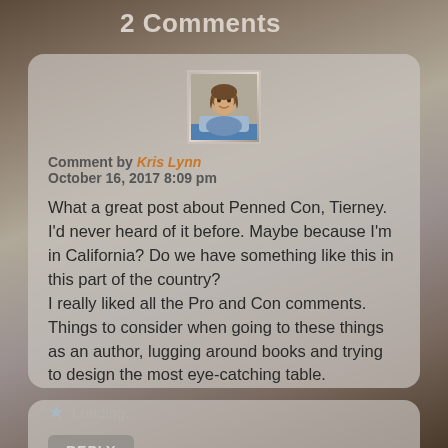2 Comments
[Figure (photo): Avatar photo of a woman with brown hair]
Comment by Kris Lynn
October 16, 2017 8:09 pm
What a great post about Penned Con, Tierney. I'd never heard of it before. Maybe because I'm in California? Do we have something like this in this part of the country?
I really liked all the Pro and Con comments. Things to consider when going to these things as an author, lugging around books and trying to design the most eye-catching table.
Loading...
REPLY